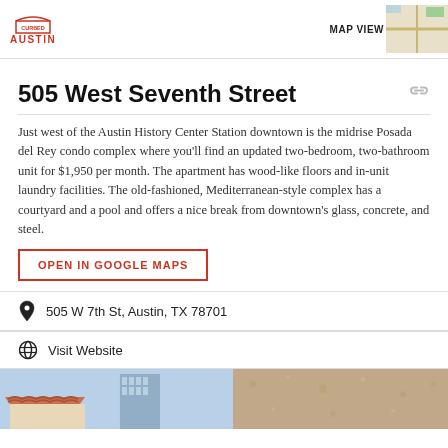CURBED AUSTIN
505 West Seventh Street
Just west of the Austin History Center Station downtown is the midrise Posada del Rey condo complex where you'll find an updated two-bedroom, two-bathroom unit for $1,950 per month. The apartment has wood-like floors and in-unit laundry facilities. The old-fashioned, Mediterranean-style complex has a courtyard and a pool and offers a nice break from downtown's glass, concrete, and steel.
OPEN IN GOOGLE MAPS
505 W 7th St, Austin, TX 78701
Visit Website
[Figure (photo): Bottom strip showing two building photos side by side: left shows a Mediterranean-style building with red tile roof and a modern glass tower behind; right shows a textured stucco wall close-up.]